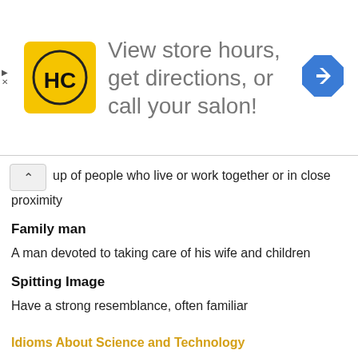[Figure (screenshot): Advertisement banner for Hairclub with logo and text: View store hours, get directions, or call your salon! with a navigation arrow icon]
up of people who live or work together or in close proximity
Family man
A man devoted to taking care of his wife and children
Spitting Image
Have a strong resemblance, often familiar
Idioms About Science and Technology